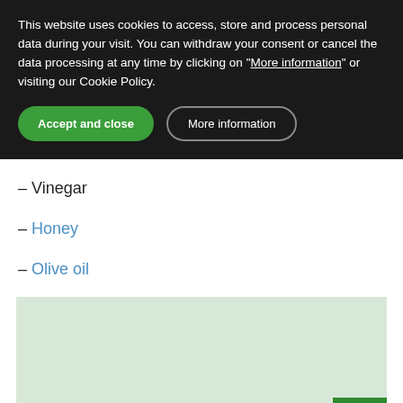This website uses cookies to access, store and process personal data during your visit. You can withdraw your consent or cancel the data processing at any time by clicking on "More information" or visiting our Cookie Policy.
– Vinegar
– Honey
– Olive oil
[Figure (map): A light green map area with a small green bar in the bottom right corner.]